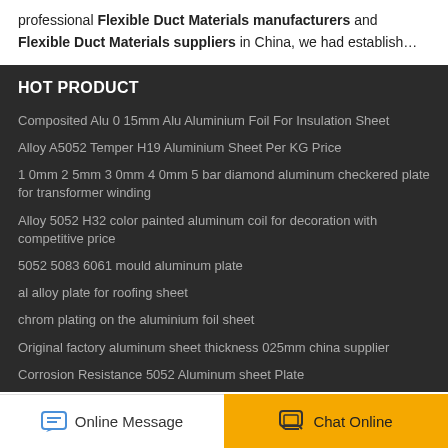professional Flexible Duct Materials manufacturers and Flexible Duct Materials suppliers in China, we had establish…
HOT PRODUCT
Composited Alu 0 15mm Alu Aluminium Foil For Insulation Sheet
Alloy A5052 Temper H19 Aluminium Sheet Per KG Price
1 0mm 2 5mm 3 0mm 4 0mm 5 bar diamond aluminum checkered plate for transformer winding
Alloy 5052 H32 color painted aluminum coil for decoration with competitive price
5052 5083 6061 mould aluminum plate
al alloy plate for roofing sheet
chrom plating on the aluminium foil sheet
Original factory aluminum sheet thickness 025mm china supplier
Corrosion Resistance 5052 Aluminum sheet Plate
Online Message   Chat Online